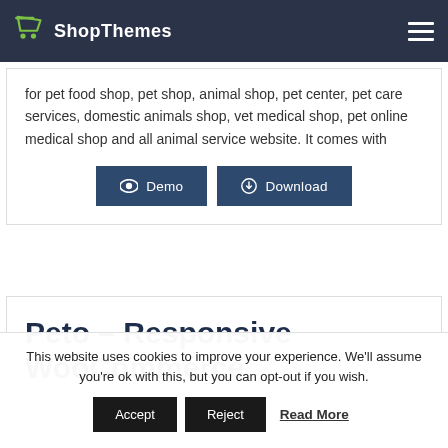ShopThemes
for pet food shop, pet shop, animal shop, pet center, pet care services, domestic animals shop, vet medical shop, pet online medical shop and all animal service website. It comes with
[Figure (other): Demo and Download buttons]
Peto – Responsive WooCommerce
This website uses cookies to improve your experience. We'll assume you're ok with this, but you can opt-out if you wish.
Accept | Reject | Read More